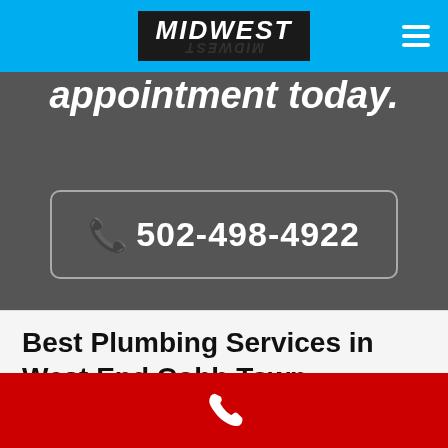MIDWEST
appointment today.
📞 502-498-4922
Best Plumbing Services in West End Cobb Town
[Figure (logo): White phone handset icon on red background footer bar]